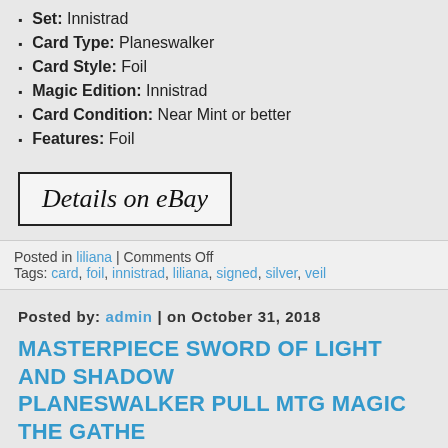Set: Innistrad
Card Type: Planeswalker
Card Style: Foil
Magic Edition: Innistrad
Card Condition: Near Mint or better
Features: Foil
Details on eBay
Posted in liliana | Comments Off
Tags: card, foil, innistrad, liliana, signed, silver, veil
Posted by: admin | on October 31, 2018
MASTERPIECE SWORD OF LIGHT AND SHADOW PLANESWALKER PULL MTG MAGIC THE GATHE